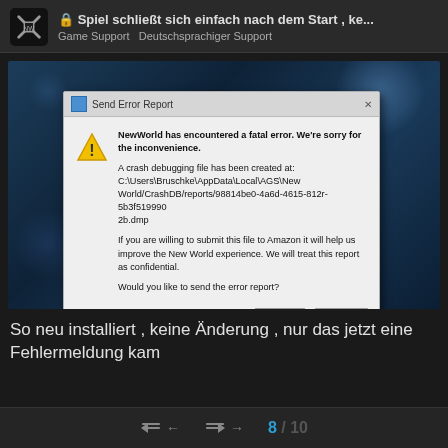Spiel schließt sich einfach nach dem Start , ke... Game Support Deutschsprachiger Support
[Figure (screenshot): Screenshot of a New World game crash showing a Windows 'Send Error Report' dialog. The dialog states: 'NewWorld has encountered a fatal error. We're sorry for the inconvenience. A crash debugging file has been created at: C:\Users\Bruschke\AppData\Local\AGS\NewWorld/CrashDB/reports/98814be0-4a6d-4615-812r-5b3f519990​2b.dmp. If you are willing to submit this file to Amazon it will help us improve the New World experience. We will treat this report as confidential. Would you like to send the error report?' with Ja and Nein buttons.]
So neu installiert , keine Änderung , nur das jetzt eine Fehlermeldung kam
8 / 10